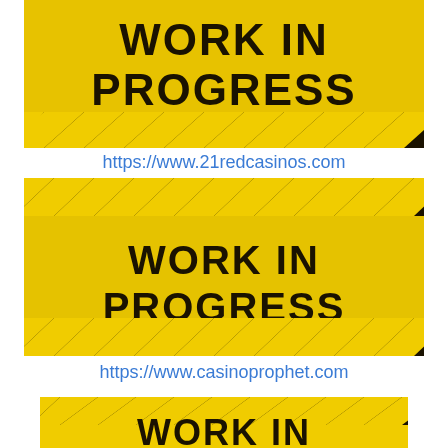[Figure (illustration): Yellow and black 'Work In Progress' warning sign (top portion, cropped at top)]
https://www.21redcasinos.com
[Figure (illustration): Yellow and black 'Work In Progress' warning sign (full sign visible)]
https://www.casinoprophet.com
[Figure (illustration): Yellow and black 'Work In Progress' warning sign (bottom portion, cropped)]